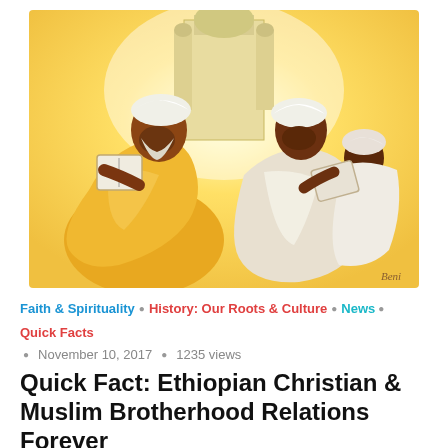[Figure (illustration): Illustrated artwork showing two figures in traditional robes sitting back-to-back reading books/scrolls. The left figure wears yellow/golden robes and a white turban; the right figure wears white robes and a white turban. An architectural structure is visible in the background. The image has a warm, stylized painted look.]
Faith & Spirituality • History: Our Roots & Culture • News • Quick Facts
November 10, 2017 • 1235 views
Quick Fact: Ethiopian Christian & Muslim Brotherhood Relations Forever
Ethiopian Christians and Muslims in friendship and brotherhood for